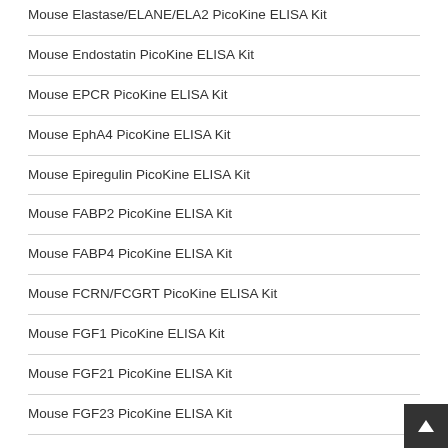Mouse Elastase/ELANE/ELA2 PicoKine ELISA Kit
Mouse Endostatin PicoKine ELISA Kit
Mouse EPCR PicoKine ELISA Kit
Mouse EphA4 PicoKine ELISA Kit
Mouse Epiregulin PicoKine ELISA Kit
Mouse FABP2 PicoKine ELISA Kit
Mouse FABP4 PicoKine ELISA Kit
Mouse FCRN/FCGRT PicoKine ELISA Kit
Mouse FGF1 PicoKine ELISA Kit
Mouse FGF21 PicoKine ELISA Kit
Mouse FGF23 PicoKine ELISA Kit
Mouse Fibulin-3/EFEMP1 PicoKine ELISA Kit
Mouse FOLR1 PicoKine ELISA Kit
Mouse Galectin-7 PicoKine ELISA Kit